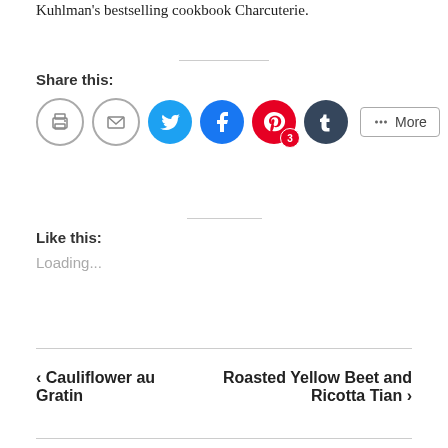Kuhlman's bestselling cookbook Charcuterie.
Share this:
[Figure (infographic): Social share buttons: print, email, Twitter, Facebook, Pinterest (with badge 3), Tumblr, and More button]
Like this:
Loading...
‹ Cauliflower au Gratin    Roasted Yellow Beet and Ricotta Tian ›